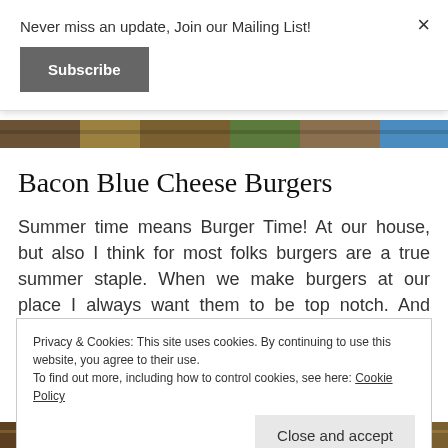Never miss an update, Join our Mailing List!
Subscribe
×
[Figure (photo): Food image strip showing burgers or similar food items]
Bacon Blue Cheese Burgers
Summer time means Burger Time! At our house, but also I think for most folks burgers are a true summer staple. When we make burgers at our place I always want them to be top notch. And these Bacon Blue Cheese Burgers do not disappoint!...
Privacy & Cookies: This site uses cookies. By continuing to use this website, you agree to their use.
To find out more, including how to control cookies, see here: Cookie Policy
Close and accept
[Figure (photo): Bottom food image strip showing burger or food items]